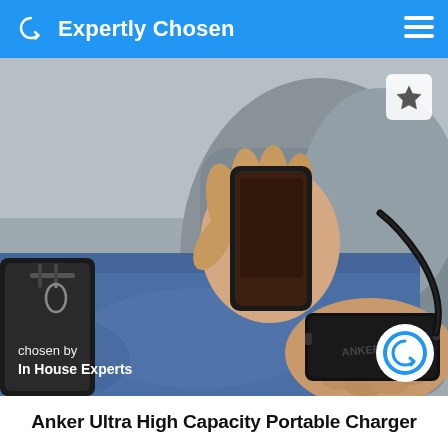Expertly Chosen
[Figure (photo): Person sitting down holding a black Anker portable charger/power bank in one hand, connected via USB cable to a smartphone held in the other hand. Person is wearing jeans and a grey knit sweater. A black bag is visible to the left. Overlay text at bottom left reads 'chosen by In House Experts'. A circular Expertly Chosen logo badge appears at bottom right, and a white star bookmark button is at top right.]
Anker Ultra High Capacity Portable Charger